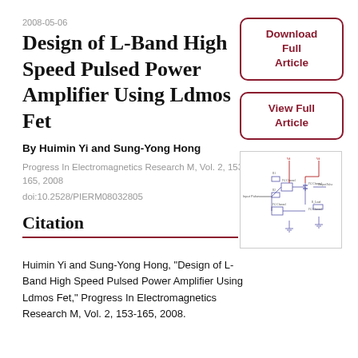2008-05-06
Design of L-Band High Speed Pulsed Power Amplifier Using Ldmos Fet
By Huimin Yi and Sung-Yong Hong
Progress In Electromagnetics Research M, Vol. 2, 153-165, 2008
doi:10.2528/PIERM08032805
[Figure (other): Download Full Article button]
[Figure (other): View Full Article button]
[Figure (circuit-diagram): Circuit schematic diagram of L-Band pulsed power amplifier using LDMOS FET]
Citation
Huimin Yi and Sung-Yong Hong, "Design of L-Band High Speed Pulsed Power Amplifier Using Ldmos Fet," Progress In Electromagnetics Research M, Vol. 2, 153-165, 2008.